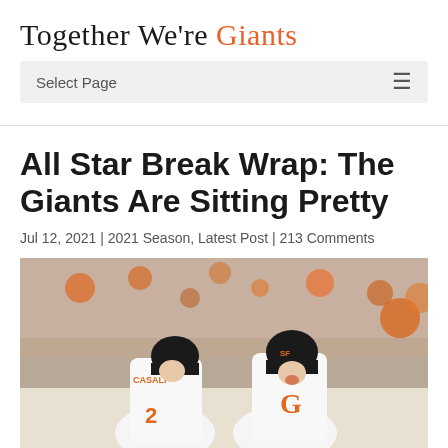Together We're Giants
Select Page
All Star Break Wrap: The Giants Are Sitting Pretty
Jul 12, 2021 | 2021 Season, Latest Post | 213 Comments
[Figure (photo): Two SF Giants players in white uniforms with orange trim celebrating, one wearing jersey number 2 (Casali), crowd visible in background]